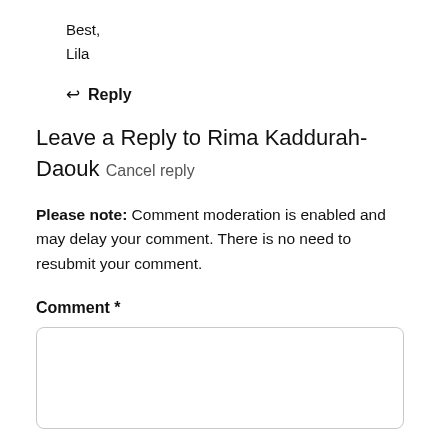Best,
Lila
↩ Reply
Leave a Reply to Rima Kaddurah-Daouk Cancel reply
Please note: Comment moderation is enabled and may delay your comment. There is no need to resubmit your comment.
Comment *
[Figure (other): Empty comment text area input box with rounded border]